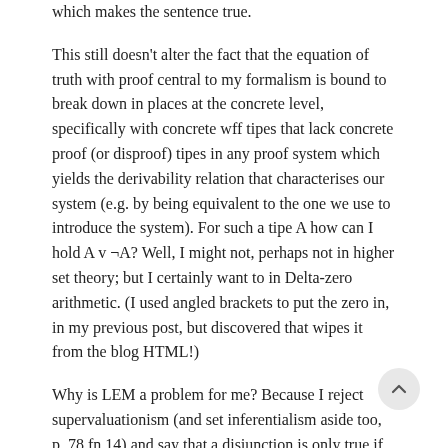which makes the sentence true.
This still doesn't alter the fact that the equation of truth with proof central to my formalism is bound to break down in places at the concrete level, specifically with concrete wff tipes that lack concrete proof (or disproof) tipes in any proof system which yields the derivability relation that characterises our system (e.g. by being equivalent to the one we use to introduce the system). For such a tipe A how can I hold A v ¬A? Well, I might not, perhaps not in higher set theory; but I certainly want to in Delta-zero arithmetic. (I used angled brackets to put the zero in, in my previous post, but discovered that wipes it from the blog HTML!)
Why is LEM a problem for me? Because I reject supervaluationism (and set inferentialism aside too, p. 78 fn 14) and say that a disjunction is only true if one disjunct is true, and that truth = proof. But no one can prove that claim about disjunction over concrete tipes, one could only go through a few of them one by one asserting it. We have to take the concrete system to be a fragment of a formal system, give the (non-supervaluational) clause for disjunction, and prove inductively unique readability results establishing that every disjunction has